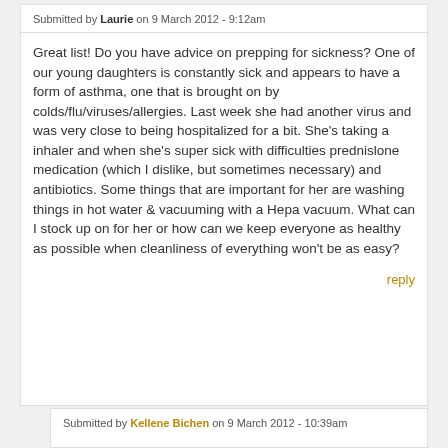Submitted by Laurie on 9 March 2012 - 9:12am
Great list! Do you have advice on prepping for sickness? One of our young daughters is constantly sick and appears to have a form of asthma, one that is brought on by colds/flu/viruses/allergies. Last week she had another virus and was very close to being hospitalized for a bit. She's taking a inhaler and when she's super sick with difficulties prednislone medication (which I dislike, but sometimes necessary) and antibiotics. Some things that are important for her are washing things in hot water & vacuuming with a Hepa vacuum. What can I stock up on for her or how can we keep everyone as healthy as possible when cleanliness of everything won't be as easy?
reply
Submitted by Kellene Bichen on 9 March 2012 - 10:39am